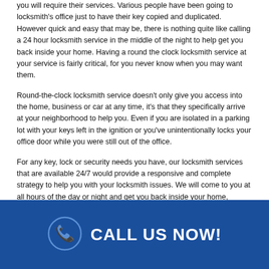you will require their services. Various people have been going to locksmith's office just to have their key copied and duplicated. However quick and easy that may be, there is nothing quite like calling a 24 hour locksmith service in the middle of the night to help get you back inside your home. Having a round the clock locksmith service at your service is fairly critical, for you never know when you may want them.
Round-the-clock locksmith service doesn't only give you access into the home, business or car at any time, it's that they specifically arrive at your neighborhood to help you. Even if you are isolated in a parking lot with your keys left in the ignition or you've unintentionally locks your office door while you were still out of the office.
For any key, lock or security needs you have, our locksmith services that are available 24/7 would provide a responsive and complete strategy to help you with your locksmith issues. We will come to you at all hours of the day or night and get you back inside your home, business or auto in a jiffy.
[Figure (infographic): Dark blue banner with a phone icon circle and text CALL US NOW!]